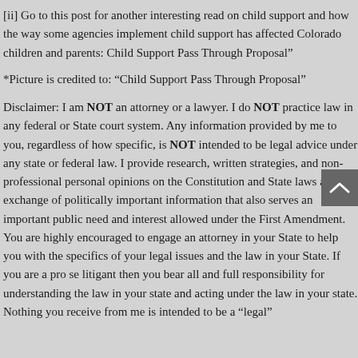[ii] Go to this post for another interesting read on child support and how the way some agencies implement child support has affected Colorado children and parents: Child Support Pass Through Proposal"
*Picture is credited to: “Child Support Pass Through Proposal”
Disclaimer: I am NOT an attorney or a lawyer. I do NOT practice law in any federal or State court system. Any information provided by me to you, regardless of how specific, is NOT intended to be legal advice under any state or federal law. I provide research, written strategies, and non-professional personal opinions on the Constitution and State laws as free exchange of politically important information that also serves an important public need and interest allowed under the First Amendment. You are highly encouraged to engage an attorney in your State to help you with the specifics of your legal issues and the law in your State. If you are a pro se litigant then you bear all and full responsibility for understanding the law in your state and acting under the law in your state. Nothing you receive from me is intended to be a “legal”